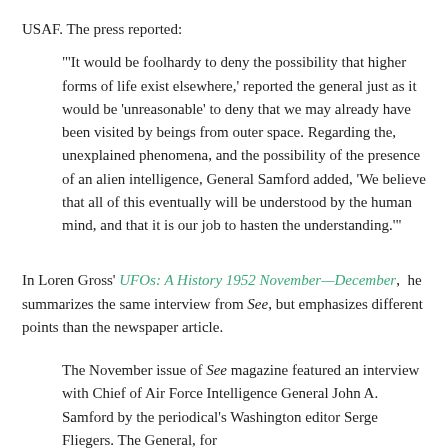USAF. The press reported:
"'It would be foolhardy to deny the possibility that higher forms of life exist elsewhere,' reported the general just as it would be 'unreasonable' to deny that we may already have been visited by beings from outer space. Regarding the, unexplained phenomena, and the possibility of the presence of an alien intelligence, General Samford added, 'We believe that all of this eventually will be understood by the human mind, and that it is our job to hasten the understanding.'"
In Loren Gross' UFOs: A History 1952 November—December,  he summarizes the same interview from See, but emphasizes different points than the newspaper article.
The November issue of See magazine featured an interview with Chief of Air Force Intelligence General John A. Samford by the periodical's Washington editor Serge Fliegers. The General, for